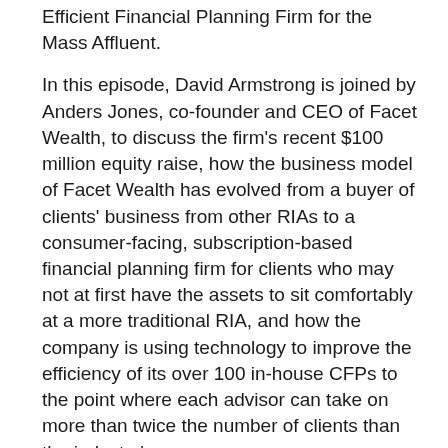Efficient Financial Planning Firm for the Mass Affluent.
In this episode, David Armstrong is joined by Anders Jones, co-founder and CEO of Facet Wealth, to discuss the firm's recent $100 million equity raise, how the business model of Facet Wealth has evolved from a buyer of clients' business from other RIAs to a consumer-facing, subscription-based financial planning firm for clients who may not at first have the assets to sit comfortably at a more traditional RIA, and how the company is using technology to improve the efficiency of its over 100 in-house CFPs to the point where each advisor can take on more than twice the number of clients than the industry's average.
Anders discusses:
How Facet's original intention of buying